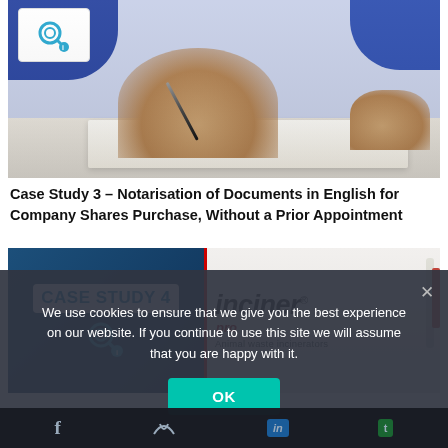[Figure (photo): Photo of a person in a blue suit signing a document with a pen, with paper on a desk. A white badge icon is visible in the top-left corner.]
Case Study 3 – Notarisation of Documents in English for Company Shares Purchase, Without a Prior Appointment
[Figure (photo): Composite image showing 'CASE STUDY 4' text with a teal search/magnifier icon on the left panel (dark blue background), and 'Inciner® pro – Animal waste incinerators' signage on the right.]
We use cookies to ensure that we give you the best experience on our website. If you continue to use this site we will assume that you are happy with it.
OK